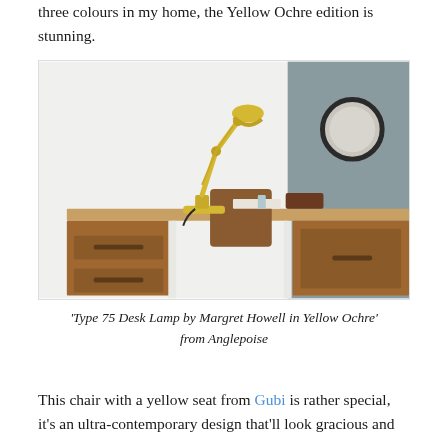three colours in my home, the Yellow Ochre edition is stunning.
[Figure (photo): A wooden desk with a yellow anglepoise desk lamp, a wooden chair, and office accessories. The background has a half-white half-grey wall with a round mirror on the right side.]
'Type 75 Desk Lamp by Margret Howell in Yellow Ochre' from Anglepoise
This chair with a yellow seat from Gubi is rather special, it's an ultra-contemporary design that'll look gracious and